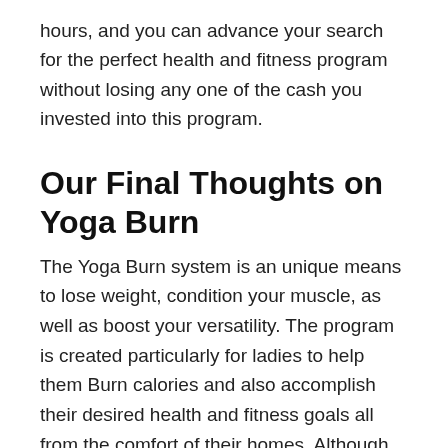hours, and you can advance your search for the perfect health and fitness program without losing any one of the cash you invested into this program.
Our Final Thoughts on Yoga Burn
The Yoga Burn system is an unique means to lose weight, condition your muscle, as well as boost your versatility. The program is created particularly for ladies to help them Burn calories and also accomplish their desired health and fitness goals all from the comfort of their homes. Although like lots of exercise programs, results are diverse and rely on a number of aspects independent of the program, we give the Yoga Burn system a